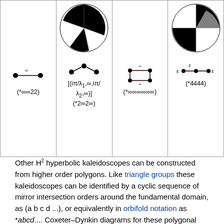|  |  |  |  |
| --- | --- | --- | --- |
| [diagram: *∞∞22] | [diagram: *2∞2∞, iπ/λ notation] | [diagram: *∞∞∞∞∞∞] | [diagram: *4444] |
| (*∞∞22) | [(iπ/λ₁,∞,iπ/λ₂,∞)] (*2∞2∞) | (*∞∞∞∞∞∞) | (*4444) |
Other H² hyperbolic kaleidoscopes can be constructed from higher order polygons. Like triangle groups these kaleidoscopes can be identified by a cyclic sequence of mirror intersection orders around the fundamental domain, as (a b c d ...), or equivalently in orbifold notation as *abcd.... Coxeter–Dynkin diagrams for these polygonal kaleidoscopes can be seen as a degenerate (n-1)-simplex fundamental domains, with a cyclic of branches order a,b,c... and the remaining n*(n-3)/2 branches are labeled as infinite (∞) representing the non-intersecting mirrors. The only nonhyperbolic example is Euclidean symmetry four mirrors in a square or rectangle as [∞,2,∞] (orbifold *2222). Another branch representation for non-intersecting mirrors by Vinberg gives infinite branches as dotted or dashed lines, so this diagram can be shown as with the four order-2 branches suppressed around the